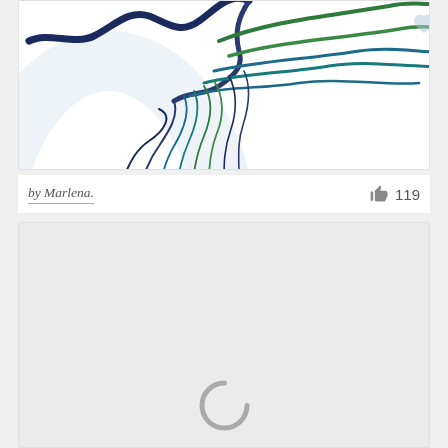[Figure (illustration): Partial view of a colorful tree illustration with flowing branches in blue, teal, and green on a white background. Only the upper-right portion of the tree with branch/root-like tendrils is visible.]
by Marlena.
👍 119
[Figure (other): A light grey card/panel showing a loading spinner (partial arc in grey) at the bottom center, indicating content is loading.]